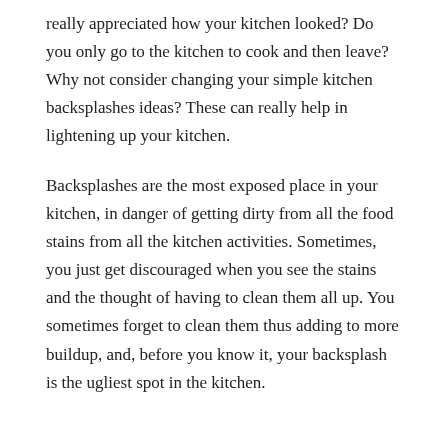really appreciated how your kitchen looked? Do you only go to the kitchen to cook and then leave? Why not consider changing your simple kitchen backsplashes ideas? These can really help in lightening up your kitchen.
Backsplashes are the most exposed place in your kitchen, in danger of getting dirty from all the food stains from all the kitchen activities. Sometimes, you just get discouraged when you see the stains and the thought of having to clean them all up. You sometimes forget to clean them thus adding to more buildup, and, before you know it, your backsplash is the ugliest spot in the kitchen.